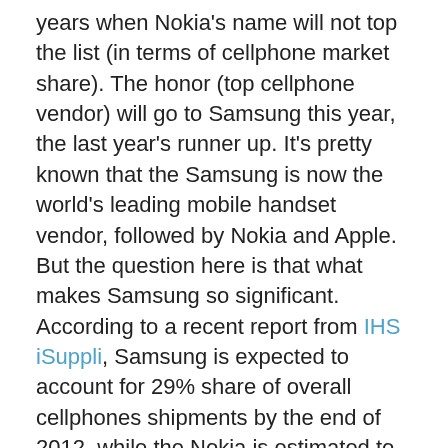years when Nokia's name will not top the list (in terms of cellphone market share). The honor (top cellphone vendor) will go to Samsung this year, the last year's runner up. It's pretty known that the Samsung is now the world's leading mobile handset vendor, followed by Nokia and Apple. But the question here is that what makes Samsung so significant. According to a recent report from IHS iSuppli, Samsung is expected to account for 29% share of overall cellphones shipments by the end of 2012, while the Nokia is estimated to drop down to 24%, from 30% in 2011.
In 2011, Samsung led Apple with just 1% in 2011 in terms of Smartphone market share, but the company is expected to widen the gap to 8% this year. As cut-throat competition is rampant in the